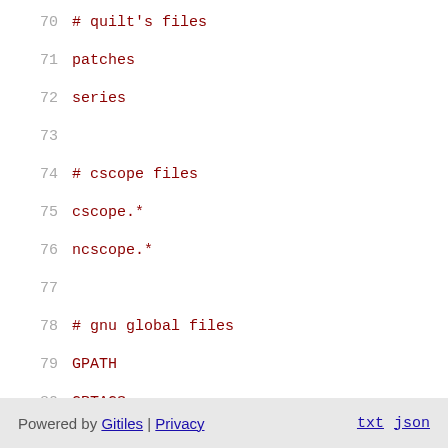70  # quilt's files
71  patches
72  series
73
74  # cscope files
75  cscope.*
76  ncscope.*
77
78  # gnu global files
79  GPATH
80  GRTAGS
81  GSYMS
82  GTAGS
83
84  *.orig
85  *~
86  \#*#
Powered by Gitiles | Privacy    txt  json